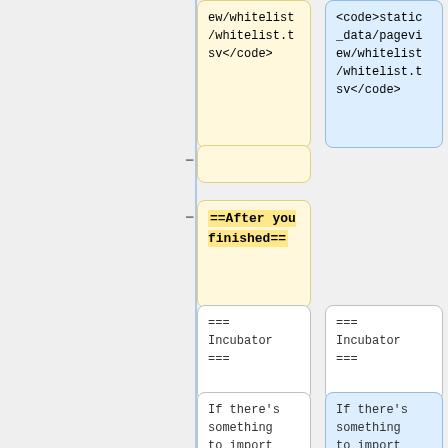ew/whitelist/whitelist.tsv</code>
<code>static_data/pageview/whitelist/whitelist.tsv</code>
-
-
==After you finished==
=== Incubator ===
=== Incubator ===
If there's something to import (as is often the case in new Language wikis),
If there's something to import (as is often the case in new language projects),